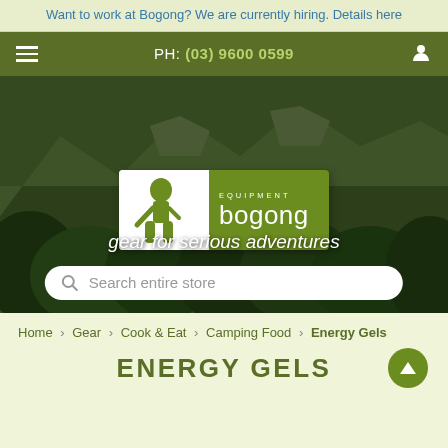Want to work at Bogong? We are currently hiring. Details here
PH: (03) 9600 0599
[Figure (screenshot): Hero image of mountains and jungle with Bogong Equipment logo, tagline 'gear for serious adventures', and a search bar]
[Figure (logo): Bogong Equipment logo: white silhouette of hiker on left half, green background with 'EQUIPMENT bogong' text on right half]
gear for serious adventures
Search entire store
Home > Gear > Cook & Eat > Camping Food > Energy Gels
ENERGY GELS